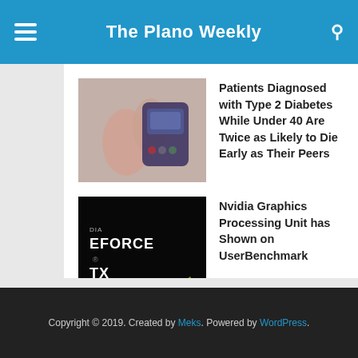The Plano Weekly
[Figure (photo): Close-up photo of a person using a glucose meter, checking blood sugar, medical/diabetes context.]
Patients Diagnosed with Type 2 Diabetes While Under 40 Are Twice as Likely to Die Early as Their Peers
[Figure (photo): Nvidia GeForce RTX graphics card box/packaging on dark background with green Nvidia logo.]
Nvidia Graphics Processing Unit has Shown on UserBenchmark
Copyright © 2019. Created by Meks. Powered by WordPress.